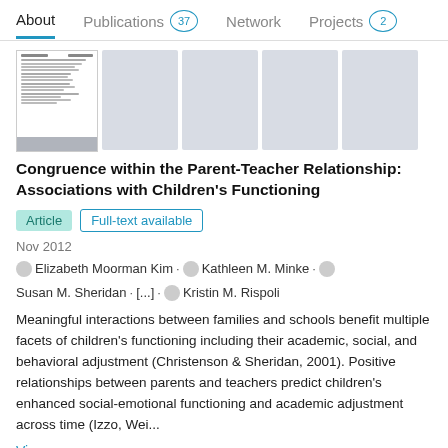About | Publications 37 | Network | Projects 2
[Figure (screenshot): Thumbnail images of publication pages, first showing a document with text and a gray bar at the bottom, followed by four blank gray placeholder rectangles.]
Congruence within the Parent-Teacher Relationship: Associations with Children's Functioning
Article | Full-text available
Nov 2012
Elizabeth Moorman Kim · Kathleen M. Minke · Susan M. Sheridan · [...] · Kristin M. Rispoli
Meaningful interactions between families and schools benefit multiple facets of children's functioning including their academic, social, and behavioral adjustment (Christenson & Sheridan, 2001). Positive relationships between parents and teachers predict children's enhanced social-emotional functioning and academic adjustment across time (Izzo, Wei...
View